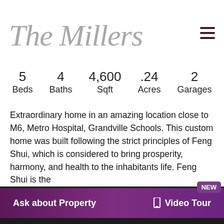The Millers
5 Beds   4 Baths   4,600 Sqft   .24 Acres   2 Garages
Extraordinary home in an amazing location close to M6, Metro Hospital, Grandville Schools. This custom home was built following the strict principles of Feng Shui, which is considered to bring prosperity, harmony, and health to the inhabitants life. Feng Shui is the...
NEW
Ask about Property   Video Tour